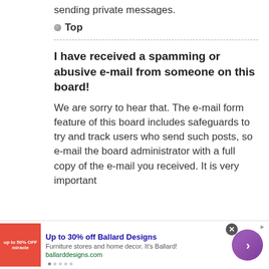sending private messages.
Top
I have received a spamming or abusive e-mail from someone on this board!
We are sorry to hear that. The e-mail form feature of this board includes safeguards to try and track users who send such posts, so e-mail the board administrator with a full copy of the e-mail you received. It is very important
Up to 30% off Ballard Designs
Furniture stores and home decor. It's Ballard!
ballarddesigns.com